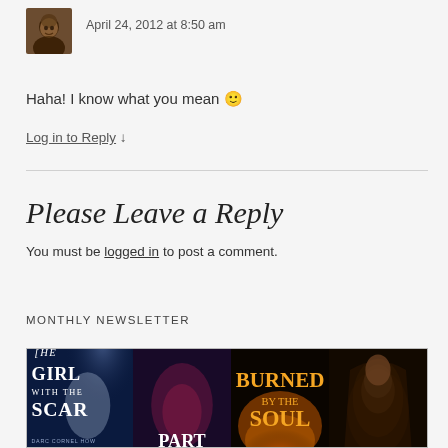[Figure (photo): Small avatar photo of a smiling man]
April 24, 2012 at 8:50 am
Haha! I know what you mean 🙂
Log in to Reply ↓
Please Leave a Reply
You must be logged in to post a comment.
MONTHLY NEWSLETTER
[Figure (photo): Strip of four book covers: The Girl with the Scar, a William Stadler book (Part...), Burned by the Soul, and another William Stadler dark hooded figure cover]